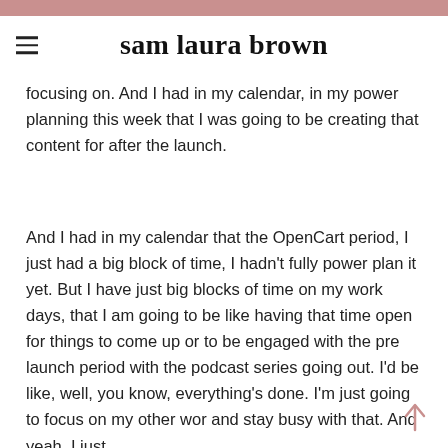sam laura brown
focusing on. And I had in my calendar, in my power planning this week that I was going to be creating that content for after the launch.
And I had in my calendar that the OpenCart period, I just had a big block of time, I hadn't fully power plan it yet. But I have just big blocks of time on my work days, that I am going to be like having that time open for things to come up or to be engaged with the pre launch period with the podcast series going out. I'd be like, well, you know, everything's done. I'm just going to focus on my other wor and stay busy with that. And yeah, I just